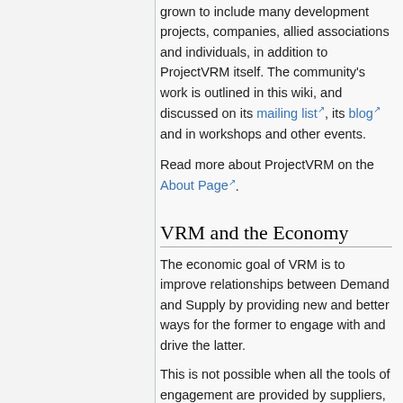grown to include many development projects, companies, allied associations and individuals, in addition to ProjectVRM itself. The community's work is outlined in this wiki, and discussed on its mailing list, its blog and in workshops and other events.
Read more about ProjectVRM on the About Page.
VRM and the Economy
The economic goal of VRM is to improve relationships between Demand and Supply by providing new and better ways for the former to engage with and drive the latter.
This is not possible when all the tools of engagement are provided by suppliers, and all those tools are different. For